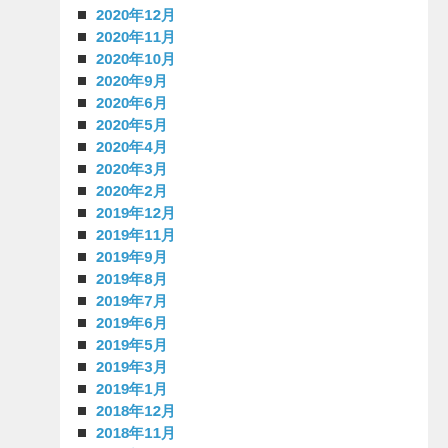2020年12月
2020年11月
2020年10月
2020年9月
2020年6月
2020年5月
2020年4月
2020年3月
2020年2月
2019年12月
2019年11月
2019年9月
2019年8月
2019年7月
2019年6月
2019年5月
2019年3月
2019年1月
2018年12月
2018年11月
2018年10月
2018年9月